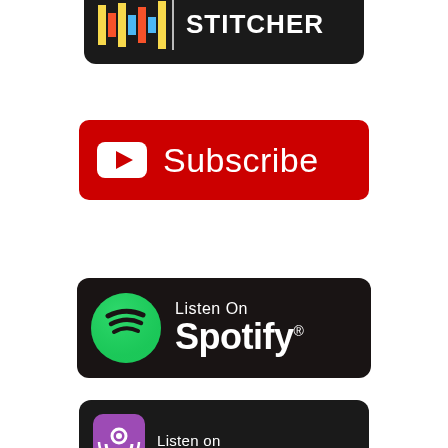[Figure (logo): Stitcher podcast badge - black rounded rectangle with colorful waveform icon and STITCHER text in white]
[Figure (logo): YouTube Subscribe button - red rounded rectangle with YouTube play icon and Subscribe text in white]
[Figure (logo): Listen On Spotify badge - black rounded rectangle with green Spotify logo and Listen On Spotify text in white]
[Figure (logo): Apple Podcasts Listen on badge - black rounded rectangle with purple Apple Podcasts icon and Listen on text, partially visible at bottom]